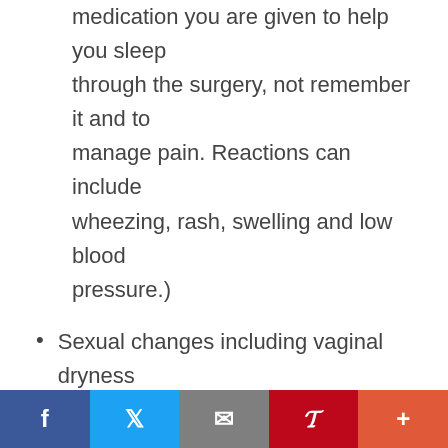medication you are given to help you sleep through the surgery, not remember it and to manage pain. Reactions can include wheezing, rash, swelling and low blood pressure.)
Sexual changes including vaginal dryness and/or loss of interest in sex.
What is recovery like?
Recovery from a hysterectomy will depend on many factors. A stay in the hospital may be needed for one to several days, depending on the type of
f  🐦  ✉  P  +